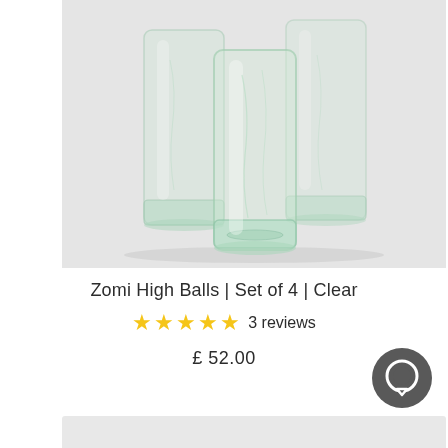[Figure (photo): Product photo of three clear handblown glass highball glasses arranged together on a light gray background. Glasses are cylindrical with slight texture and a green tint from recycled glass.]
Zomi High Balls | Set of 4 | Clear
★★★★★ 3 reviews
£ 52.00
[Figure (other): Dark gray circular chat/support button icon in the bottom right corner]